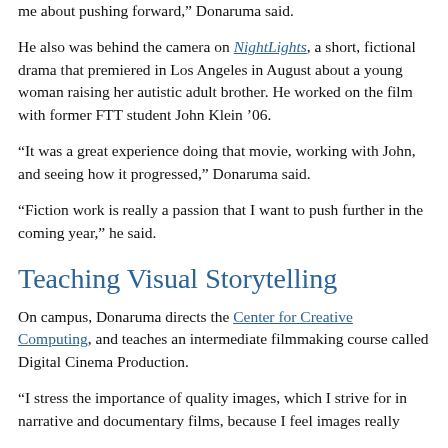me about pushing forward," Donaruma said.
He also was behind the camera on NightLights, a short, fictional drama that premiered in Los Angeles in August about a young woman raising her autistic adult brother. He worked on the film with former FTT student John Klein ’06.
“It was a great experience doing that movie, working with John, and seeing how it progressed,” Donaruma said.
“Fiction work is really a passion that I want to push further in the coming year,” he said.
Teaching Visual Storytelling
On campus, Donaruma directs the Center for Creative Computing, and teaches an intermediate filmmaking course called Digital Cinema Production.
“I stress the importance of quality images, which I strive for in narrative and documentary films, because I feel images really